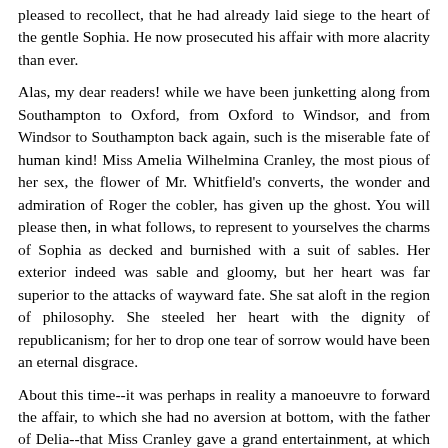pleased to recollect, that he had already laid siege to the heart of the gentle Sophia. He now prosecuted his affair with more alacrity than ever.
Alas, my dear readers! while we have been junketting along from Southampton to Oxford, from Oxford to Windsor, and from Windsor to Southampton back again, such is the miserable fate of human kind! Miss Amelia Wilhelmina Cranley, the most pious of her sex, the flower of Mr. Whitfield's converts, the wonder and admiration of Roger the cobler, has given up the ghost. You will please then, in what follows, to represent to yourselves the charms of Sophia as decked and burnished with a suit of sables. Her exterior indeed was sable and gloomy, but her heart was far superior to the attacks of wayward fate. She sat aloft in the region of philosophy. She steeled her heart with the dignity of republicanism; for her to drop one tear of sorrow would have been an eternal disgrace.
About this time--it was perhaps in reality a manoeuvre to forward the affair, to which she had no aversion at bottom, with the father of Delia--that Miss Cranley gave a grand entertainment, at which were present Mr. Hartley, Mr. Prattle, sir William Twyford, lord Martin, most of the ladies we have already commemorated, and many others.